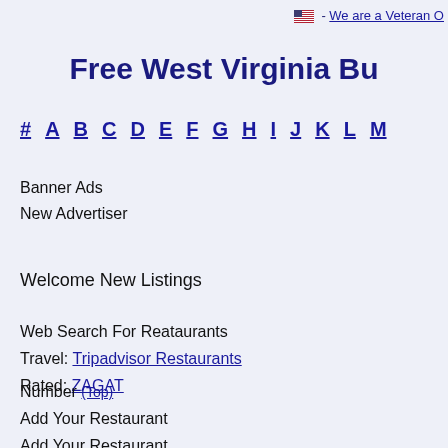🇺🇸 - We are a Veteran O
Free West Virginia Bu
# A B C D E F G H I J K L M
Banner Ads
New Advertiser
Welcome New Listings
Web Search For Reataurants
Travel: Tripadvisor Restaurants
Rated: ZAGAT
Number (Top)
Add Your Restaurant
Add Your Restaurant
Add Your Restaurant